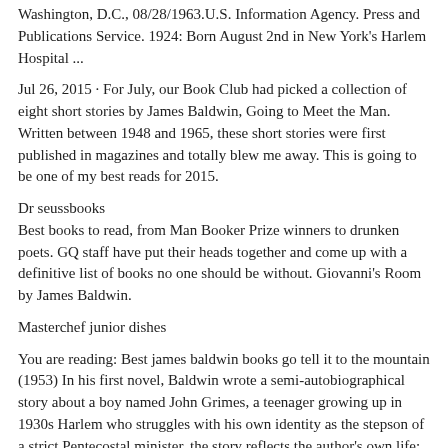Washington, D.C., 08/28/1963.U.S. Information Agency. Press and Publications Service. 1924: Born August 2nd in New York's Harlem Hospital ...
Jul 26, 2015 · For July, our Book Club had picked a collection of eight short stories by James Baldwin, Going to Meet the Man. Written between 1948 and 1965, these short stories were first published in magazines and totally blew me away. This is going to be one of my best reads for 2015.
Dr seussbooks
Best books to read, from Man Booker Prize winners to drunken poets. GQ staff have put their heads together and come up with a definitive list of books no one should be without. Giovanni's Room by James Baldwin.
Masterchef junior dishes
You are reading: Best james baldwin books go tell it to the mountain (1953) In his first novel, Baldwin wrote a semi-autobiographical story about a boy named John Grimes, a teenager growing up in 1930s Harlem who struggles with his own identity as the stepson of a strict Pentecostal minister. the story reflects the author's own life; Baldwin ...
Mom heavy baking bible